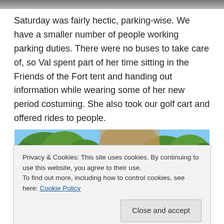[Figure (photo): Top portion of an outdoor photo, partially cropped at the top of the page]
Saturday was fairly hectic, parking-wise. We have a smaller number of people working parking duties. There were no buses to take care of, so Val spent part of her time sitting in the Friends of the Fort tent and handing out information while wearing some of her new period costuming. She also took our golf cart and offered rides to people.
[Figure (photo): Outdoor photo showing trees with blue sky and a wooden structure, partially obscured by cookie consent banner]
Privacy & Cookies: This site uses cookies. By continuing to use this website, you agree to their use.
To find out more, including how to control cookies, see here: Cookie Policy
[Figure (photo): Bottom portion of another outdoor photo showing people, partially visible at the bottom of the page]